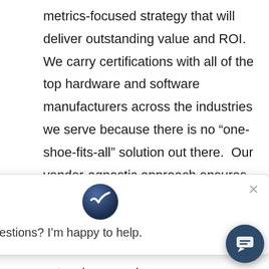metrics-focused strategy that will deliver outstanding value and ROI. We carry certifications with all of the top hardware and software manufacturers across the industries we serve because there is no “one-shoe-fits-all” solution out there.  Our vendor-agnostic approach ensures you are getting the right solution for your specific application.
The ValuTrack team is c... extensive experience an... Manufacturing, Warehou... Transportation and Logistics, Life Sciences, and Healthcare environments. Having a core understand... your specific industry needs allows us to deliver
[Figure (screenshot): Chat popup overlay with ValuTrack logo (dark blue sphere with checkmark), a close X button, and text reading 'Got any questions? I'm happy to help.' Also a circular chat button in the bottom right.]